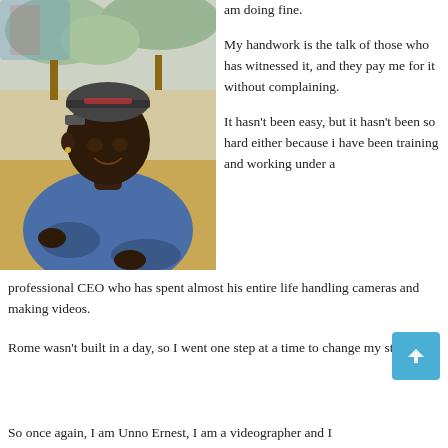[Figure (photo): Young man wearing a backwards baseball cap, smiling and leaning forward, outdoors with trees and dry ground in the background]
am doing fine.
My handwork is the talk of those who has witnessed it, and they pay me for it without complaining.
It hasn't been easy, but it hasn't been so hard either because i have been training and working under a professional CEO who has spent almost his entire life handling cameras and making videos.
Rome wasn't built in a day, so I went one step at a time to change my story.
So once again, I am Unno Ernest, I am a videographer and I